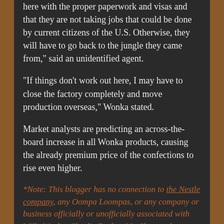here with the proper paperwork and visas and that they are not taking jobs that could be done by current citizens of the U.S. Otherwise, they will have to go back to the jungle they came from," said an unidentified agent.
"If things don't work out here, I may have to close the factory completely and move production overseas," Wonka stated.
Market analysts are predicting an across-the-board increase in all Wonka products, causing the already premium price of the confections to rise even higher.
*Note: This blogger has no connection to the Nestle company, any Oompa Loompas, or any company or business officially or unofficially associated with Willy Wonka, Charlie Bucket, Mr. Slugworth, or any other individual with an interest in the Candy Factory.